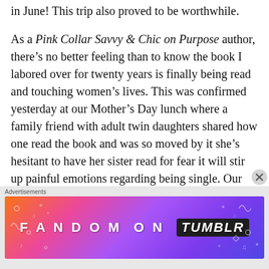in June! This trip also proved to be worthwhile.
As a Pink Collar Savvy & Chic on Purpose author, there's no better feeling than to know the book I labored over for twenty years is finally being read and touching women's lives. This was confirmed yesterday at our Mother's Day lunch where a family friend with adult twin daughters shared how one read the book and was so moved by it she's hesitant to have her sister read for fear it will stir up painful emotions regarding being single. Our friend thought I might take the feedback negatively but it's just the opposite. I want readers to feel something when they read my work. Hopefully that's the case with all of the copies of my book I couldn't check out
Advertisements
[Figure (other): Fandom on Tumblr advertisement banner with colorful gradient background (orange, pink, purple) with white doodles and text 'FANDOM ON tumblr']